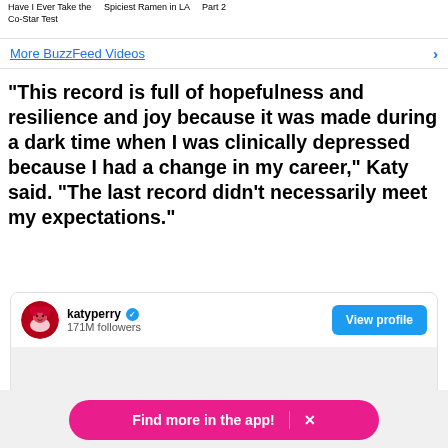Have I Ever Take the Co-Star Test   Spiciest Ramen in LA   Part 2
More BuzzFeed Videos
"This record is full of hopefulness and resilience and joy because it was made during a dark time when I was clinically depressed because I had a change in my career," Katy said. "The last record didn't necessarily meet my expectations."
[Figure (screenshot): Twitter/X profile card for katyperry with 171M followers and a View profile button, followed by a grey content area and a pink Find more in the app! button with X close icon]